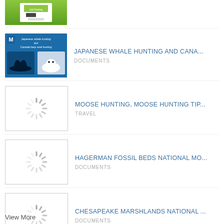[Figure (screenshot): Partial thumbnail of a document, green background with text and logo, cropped at top]
[Figure (photo): Thumbnail for Japanese Whale Hunting and Canada document, blue background with whale fins and seal images]
JAPANESE WHALE HUNTING AND CANA...
DOCUMENTS
[Figure (other): Loading spinner thumbnail for Moose Hunting document]
MOOSE HUNTING, MOOSE HUNTING TIP...
TRAVEL
[Figure (other): Loading spinner thumbnail for Hagerman Fossil Beds National Monument document]
HAGERMAN FOSSIL BEDS NATIONAL MO...
DOCUMENTS
[Figure (other): Loading spinner thumbnail for Chesapeake Marshlands National document]
CHESAPEAKE MARSHLANDS NATIONAL ...
DOCUMENTS
View More